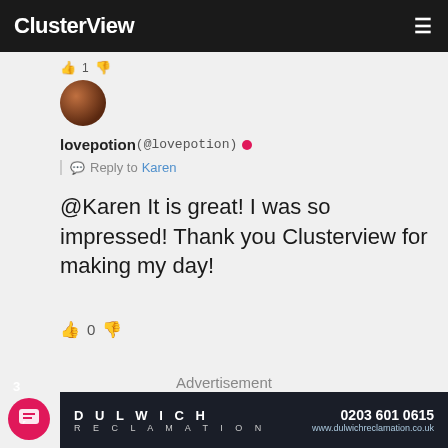ClusterView
[Figure (screenshot): User avatar: circular profile photo with dark reddish-brown tones]
lovepotion (@lovepotion) • Reply to Karen
@Karen It is great! I was so impressed! Thank you Clusterview for making my day!
0 (vote count with thumbs up/down icons)
Advertisement
[Figure (infographic): Dulwich Reclamation advertisement banner: dark navy background, company name DULWICH RECLAMATION on left, phone number 0203 601 0615 and website www.dulwichreclamation.co.uk on right]